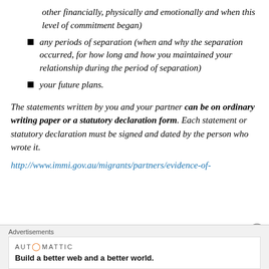other financially, physically and emotionally and when this level of commitment began)
any periods of separation (when and why the separation occurred, for how long and how you maintained your relationship during the period of separation)
your future plans.
The statements written by you and your partner can be on ordinary writing paper or a statutory declaration form. Each statement or statutory declaration must be signed and dated by the person who wrote it.
http://www.immi.gov.au/migrants/partners/evidence-of-
Advertisements
AUTOMATTIC
Build a better web and a better world.